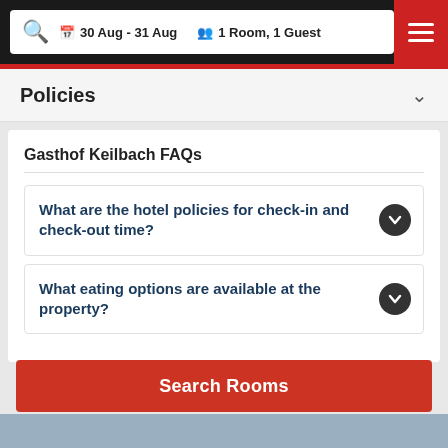30 Aug - 31 Aug   1 Room, 1 Guest
Policies
Gasthof Keilbach FAQs
What are the hotel policies for check-in and check-out time?
What eating options are available at the property?
Search Rooms